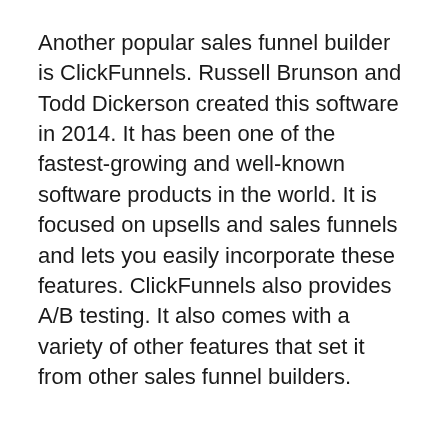Another popular sales funnel builder is ClickFunnels. Russell Brunson and Todd Dickerson created this software in 2014. It has been one of the fastest-growing and well-known software products in the world. It is focused on upsells and sales funnels and lets you easily incorporate these features. ClickFunnels also provides A/B testing. It also comes with a variety of other features that set it from other sales funnel builders.
A sales funnel builder makes it easy to design a well-organized sales procedure for your business. It also allows you to add pages to your website and automate retargeting. It also collects leads and converts website visitors into paying